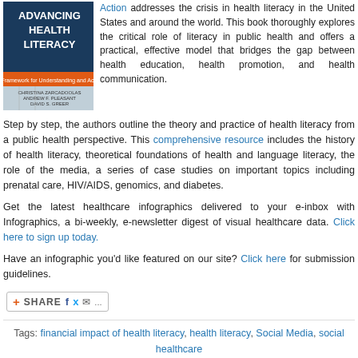[Figure (illustration): Book cover of 'Advancing Health Literacy: A Framework for Understanding and Action' by Christina Zarcadoolas, Andrew F. Pleasant, David S. Greer]
Action addresses the crisis in health literacy in the United States and around the world. This book thoroughly explores the critical role of literacy in public health and offers a practical, effective model that bridges the gap between health education, health promotion, and health communication.
Step by step, the authors outline the theory and practice of health literacy from a public health perspective. This comprehensive resource includes the history of health literacy, theoretical foundations of health and language literacy, the role of the media, a series of case studies on important topics including prenatal care, HIV/AIDS, genomics, and diabetes.
Get the latest healthcare infographics delivered to your e-inbox with Infographics, a bi-weekly, e-newsletter digest of visual healthcare data. Click here to sign up today.
Have an infographic you'd like featured on our site? Click here for submission guidelines.
[Figure (other): Share button widget with social media icons (Facebook, Twitter, email)]
Tags: financial impact of health literacy, health literacy, Social Media, social healthcare
Posted in Healthcare Costs, Infographics, Patient Engagement, Social M...
Comments Off
Older Entries